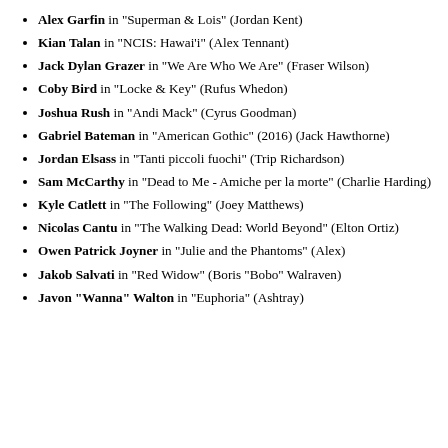Alex Garfin in "Superman & Lois" (Jordan Kent)
Kian Talan in "NCIS: Hawai'i" (Alex Tennant)
Jack Dylan Grazer in "We Are Who We Are" (Fraser Wilson)
Coby Bird in "Locke & Key" (Rufus Whedon)
Joshua Rush in "Andi Mack" (Cyrus Goodman)
Gabriel Bateman in "American Gothic" (2016) (Jack Hawthorne)
Jordan Elsass in "Tanti piccoli fuochi" (Trip Richardson)
Sam McCarthy in "Dead to Me - Amiche per la morte" (Charlie Harding)
Kyle Catlett in "The Following" (Joey Matthews)
Nicolas Cantu in "The Walking Dead: World Beyond" (Elton Ortiz)
Owen Patrick Joyner in "Julie and the Phantoms" (Alex)
Jakob Salvati in "Red Widow" (Boris "Bobo" Walraven)
Javon "Wanna" Walton in "Euphoria" (Ashtray)